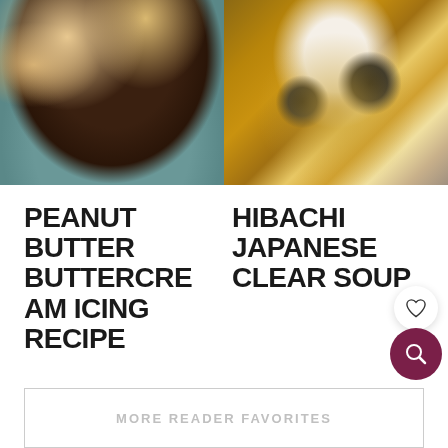[Figure (photo): Chocolate cupcakes with swirled peanut butter buttercream frosting on a cooling rack with teal cloth]
[Figure (photo): Bowl of hibachi Japanese clear soup with mushrooms and green onions, with a white spoon]
PEANUT BUTTER BUTTERCREAM ICING RECIPE
HIBACHI JAPANESE CLEAR SOUP
MORE READER FAVORITES